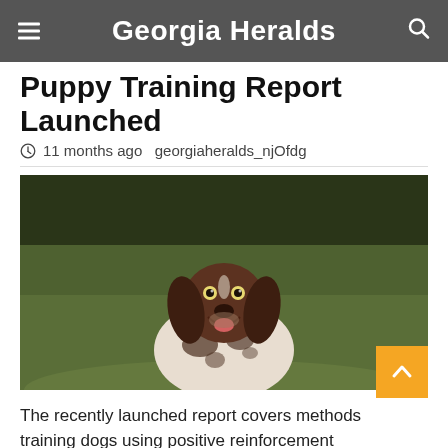Georgia Heralds
Puppy Training Report Launched
11 months ago  georgiaheralds_njOfdg
[Figure (photo): A German Shorthaired Pointer dog sitting on a grassy field, mouth open in a happy expression, looking upward. Dark brown and white spotted coat. Dark blurred foliage background.]
The recently launched report covers methods training dogs using positive reinforcement